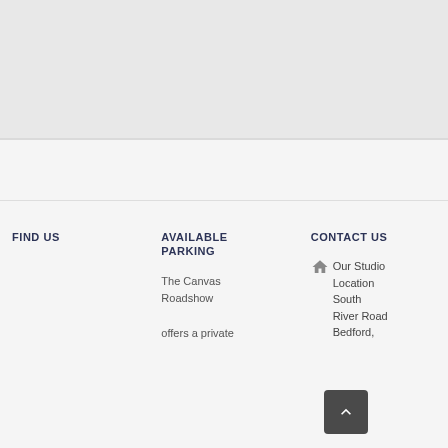[Figure (map): Greyed out map area at the top of the page]
FIND US
AVAILABLE PARKING
CONTACT US
The Canvas Roadshow offers a private
Our Studio Location South River Road Bedford,